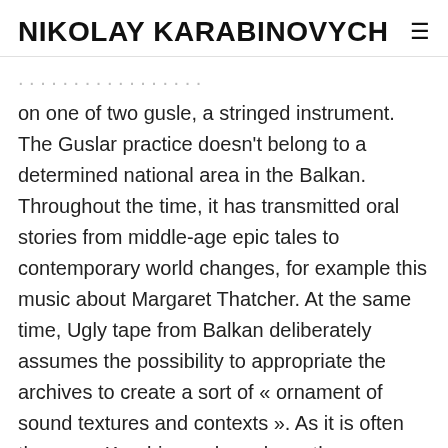NIKOLAY KARABINOVYCH ≡
on one of two gusle, a stringed instrument. The Guslar practice doesn't belong to a determined national area in the Balkan. Throughout the time, it has transmitted oral stories from middle-age epic tales to contemporary world changes, for example this music about Margaret Thatcher. At the same time, Ugly tape from Balkan deliberately assumes the possibility to appropriate the archives to create a sort of « ornament of sound textures and contexts ». As it is often the case, Karabinovych explores the polysemic voices of local zones influenced by layers of history. The result is an endless DJ-set within the Guslar's storytelling becomes dramatically morbid.